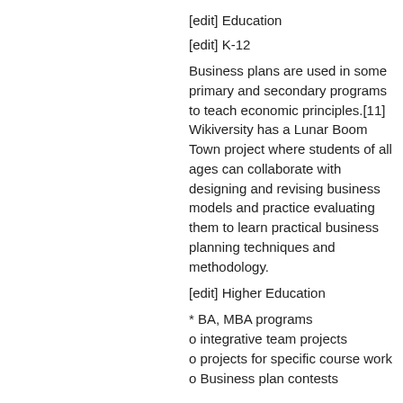[edit] Education
[edit] K-12
Business plans are used in some primary and secondary programs to teach economic principles.[11] Wikiversity has a Lunar Boom Town project where students of all ages can collaborate with designing and revising business models and practice evaluating them to learn practical business planning techniques and methodology.
[edit] Higher Education
* BA, MBA programs
o integrative team projects
o projects for specific course work
o Business plan contests